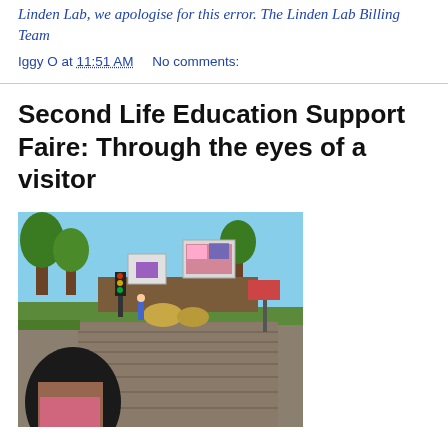Linden Lab, we apologise for this error. The Linden Lab Billing Team
Iggy O at 11:51 AM    No comments:
Second Life Education Support Faire: Through the eyes of a visitor
[Figure (photo): A Second Life virtual world scene showing avatars walking along a cobblestone path lined with trees, signs, and booths in an outdoor fair setting.]